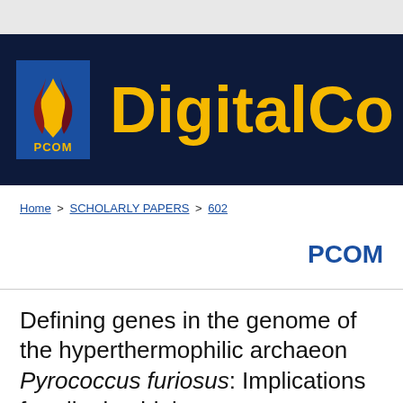[Figure (logo): PCOM DigitalCommons banner with PCOM flame logo on dark navy background and gold 'DigitalCo' text (partially visible)]
Home > SCHOLARLY PAPERS > 602
PCOM
Defining genes in the genome of the hyperthermophilic archaeon Pyrococcus furiosus: Implications for all microbial geno…